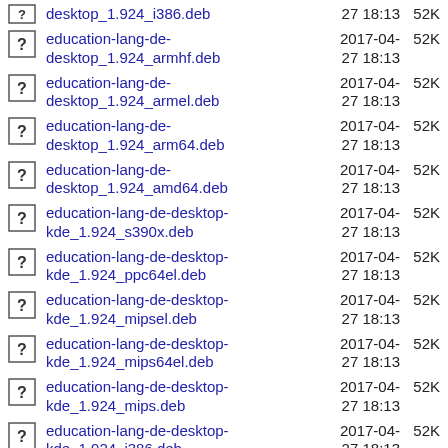desktop_1.924_i386.deb  2017-04-27 18:13  52K
education-lang-de-desktop_1.924_armhf.deb  2017-04-27 18:13  52K
education-lang-de-desktop_1.924_armel.deb  2017-04-27 18:13  52K
education-lang-de-desktop_1.924_arm64.deb  2017-04-27 18:13  52K
education-lang-de-desktop_1.924_amd64.deb  2017-04-27 18:13  52K
education-lang-de-desktop-kde_1.924_s390x.deb  2017-04-27 18:13  52K
education-lang-de-desktop-kde_1.924_ppc64el.deb  2017-04-27 18:13  52K
education-lang-de-desktop-kde_1.924_mipsel.deb  2017-04-27 18:13  52K
education-lang-de-desktop-kde_1.924_mips64el.deb  2017-04-27 18:13  52K
education-lang-de-desktop-kde_1.924_mips.deb  2017-04-27 18:13  52K
education-lang-de-desktop-kde_1.924_i386.deb  2017-04-27 18:13  52K
education-lang-de-desktop-kde_1.924_armhf.deb  2017-04-27 18:13  52K